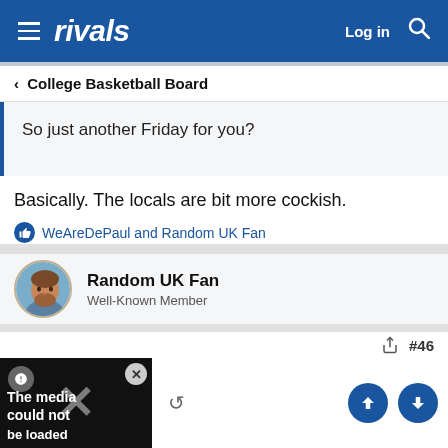rivals — Log in
< College Basketball Board
So just another Friday for you?
Basically. The locals are bit more cockish.
WeAreDePaul and Random UK Fan
Random UK Fan
Well-Known Member
#46
[Figure (screenshot): Embedded media thumbnail showing 'The media could not be loaded' error message with X logo overlay and close button]